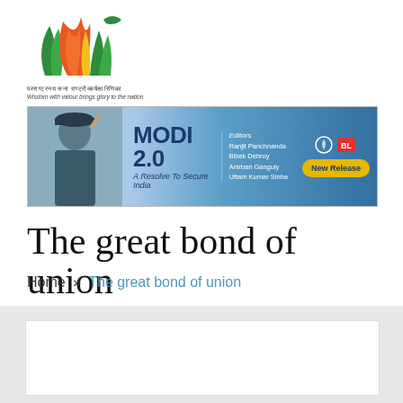[Figure (logo): Organization logo with flame/lotus design in orange, green, and yellow colors, with Hindi text and tagline 'Wisdom with valour brings glory to the nation']
[Figure (infographic): Advertisement banner for book 'MODI 2.0 - A Resolve To Secure India'. Editors: Ranjit Panchnanda, Bibek Debroy, Anirban Ganguly, Uttam Kumar Sinha. New Release button in yellow.]
The great bond of union
Home » The great bond of union
[Figure (other): White content area placeholder below breadcrumb navigation]